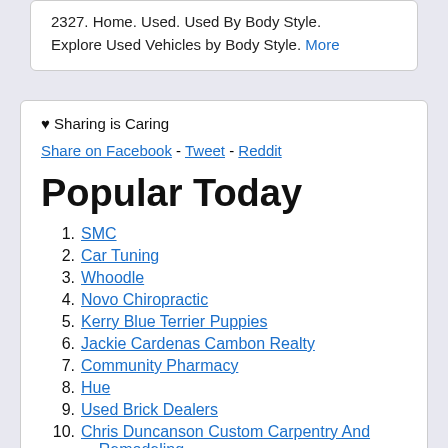2327. Home. Used. Used By Body Style. Explore Used Vehicles by Body Style. More
♥ Sharing is Caring
Share on Facebook - Tweet - Reddit
Popular Today
1. SMC
2. Car Tuning
3. Whoodle
4. Novo Chiropractic
5. Kerry Blue Terrier Puppies
6. Jackie Cardenas Cambon Realty
7. Community Pharmacy
8. Hue
9. Used Brick Dealers
10. Chris Duncanson Custom Carpentry And Remodeling